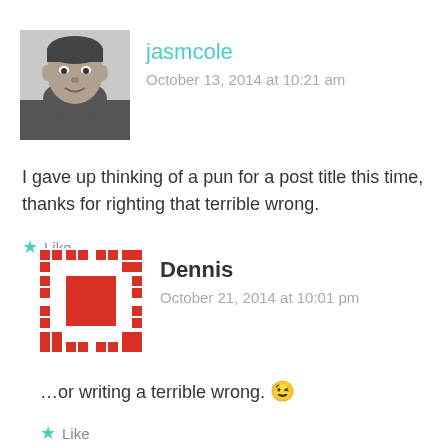[Figure (photo): Black and white profile photo of jasmcole, a young man]
jasmcole
October 13, 2014 at 10:21 am
I gave up thinking of a pun for a post title this time, thanks for righting that terrible wrong.
Like
[Figure (illustration): Dennis avatar: red square pattern on white background, mosaic/pixel style]
Dennis
October 21, 2014 at 10:01 pm
…or writing a terrible wrong. 😉
Like